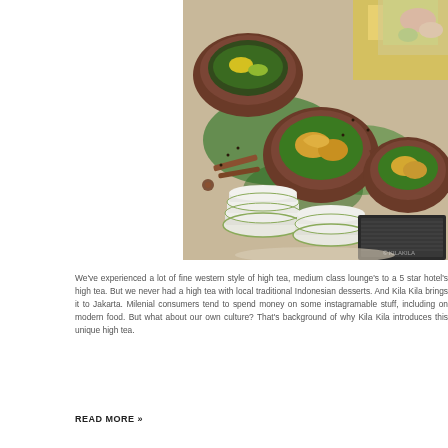[Figure (photo): A spread of traditional Indonesian food and desserts arranged on a table with banana leaves, clay bowls containing pastries and foods, stacked white ceramic dishes, cinnamon sticks, star anise, and a dark tray. Colorful festive foods visible in the upper right.]
We've experienced a lot of fine western style of high tea, medium class lounge's to a 5 star hotel's high tea. But we never had a high tea with local traditional Indonesian desserts. And Kila Kila brings it to Jakarta. Milenial consumers tend to spend money on some instagramable stuff, including on modern food. But what about our own culture? That's background of why Kila Kila introduces this unique high tea.
READ MORE »